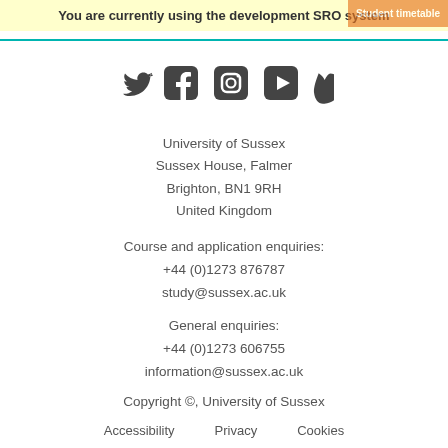You are currently using the development SRO system
[Figure (illustration): Social media icons: Twitter, Facebook, Instagram, YouTube, Vimeo]
University of Sussex
Sussex House, Falmer
Brighton, BN1 9RH
United Kingdom
Course and application enquiries:
+44 (0)1273 876787
study@sussex.ac.uk
General enquiries:
+44 (0)1273 606755
information@sussex.ac.uk
Copyright ©, University of Sussex
Accessibility   Privacy   Cookies